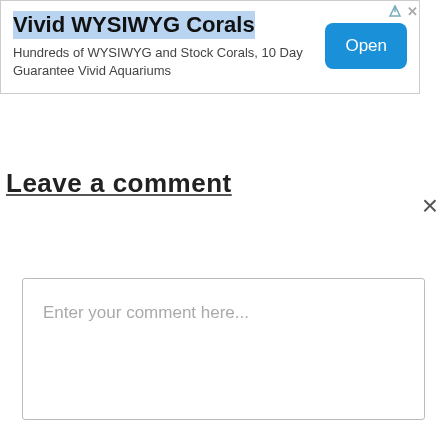[Figure (screenshot): Advertisement banner for Vivid WYSIWYG Corals with title text highlighted in blue, subtitle text, and a blue Open button. Small navigation/close icons in top-right corner.]
Leave a comment
×
Enter your comment here...